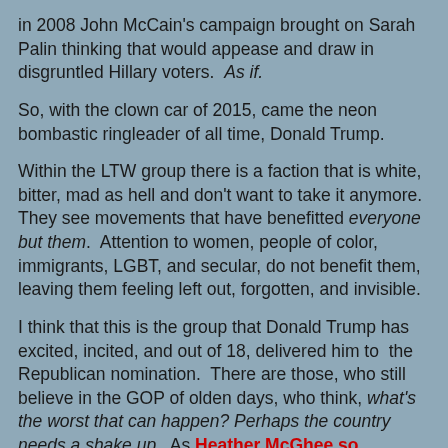in 2008 John McCain's campaign brought on Sarah Palin thinking that would appease and draw in disgruntled Hillary voters.  As if.
So, with the clown car of 2015, came the neon bombastic ringleader of all time, Donald Trump.
Within the LTW group there is a faction that is white, bitter, mad as hell and don't want to take it anymore.  They see movements that have benefitted everyone but them.  Attention to women, people of color, immigrants, LGBT, and secular, do not benefit them, leaving them feeling left out, forgotten, and invisible.
I think that this is the group that Donald Trump has excited, incited, and out of 18, delivered him to  the Republican nomination.  There are those, who still believe in the GOP of olden days, who think, what's the worst that can happen? Perhaps the country needs a shake up.  As Heather McGhee so eloquently articulated, "When you've been so used to privilege, equality feels like oppression."